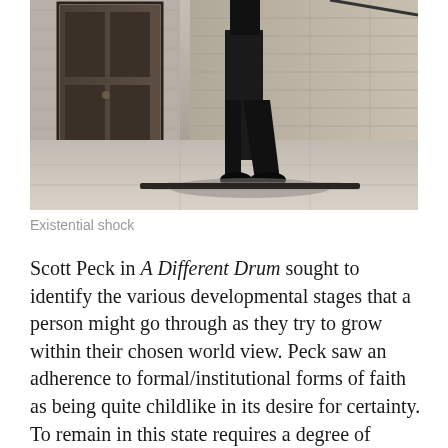[Figure (photo): Black and white photograph showing the lower body of a person walking on a city street. The person is wearing dark trousers and shoes, casting a shadow on the pavement. A large wooden door and stone wall are visible in the background.]
Existential shock
Scott Peck in A Different Drum sought to identify the various developmental stages that a person might go through as they try to grow within their chosen world view. Peck saw an adherence to formal/institutional forms of faith as being quite childlike in its desire for certainty. To remain in this state requires a degree of blinkeredness in shutting off new information that might be viewed as introducing unnecessary confusion. These believers may